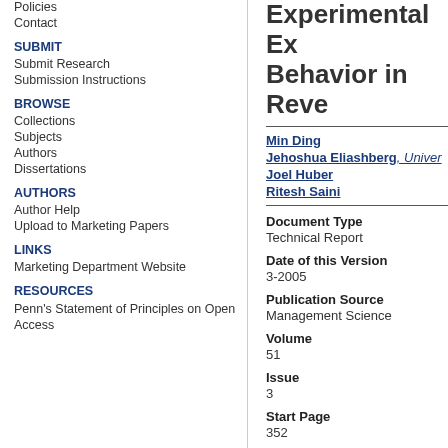Policies
Contact
SUBMIT
Submit Research
Submission Instructions
BROWSE
Collections
Subjects
Authors
Dissertations
AUTHORS
Author Help
Upload to Marketing Papers
LINKS
Marketing Department Website
RESOURCES
Penn's Statement of Principles on Open Access
Experimental Ex... Behavior in Reve...
Min Ding
Jehoshua Eliashberg, Univer...
Joel Huber
Ritesh Saini
Document Type
Technical Report
Date of this Version
3-2005
Publication Source
Management Science
Volume
51
Issue
3
Start Page
352
Last Page
364
DOI